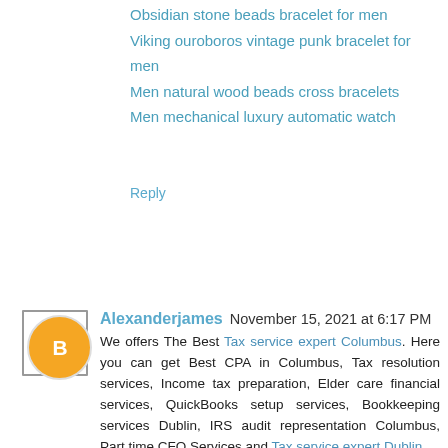Obsidian stone beads bracelet for men
Viking ouroboros vintage punk bracelet for men
Men natural wood beads cross bracelets
Men mechanical luxury automatic watch
Reply
Alexanderjames  November 15, 2021 at 6:17 PM
We offers The Best Tax service expert Columbus. Here you can get Best CPA in Columbus, Tax resolution services, Income tax preparation, Elder care financial services, QuickBooks setup services, Bookkeeping services Dublin, IRS audit representation Columbus, Part time CFO Services and Tax service expert Dublin.
Tax preparation services Ohio
IRS audit representation
QuickBooks setup services
Part time CFO Services
Elder care financial services
Cash flow management services
Reply